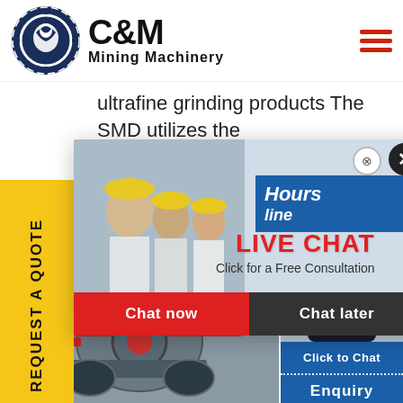[Figure (logo): C&M Mining Machinery logo with eagle/gear icon in navy blue circle, company name in bold black text]
ultrafine grinding products The SMD utilizes the rotational energy of the impeller arms to impart a high energy texture inside the mill.
[Figure (infographic): Live chat popup overlay with workers in hard hats, LIVE CHAT heading in red, Click for a Free Consultation text, Chat now and Chat later buttons, blue Hours/Online banner on right side]
[Figure (photo): Mining machinery equipment photo - red and grey mechanical parts]
[Figure (photo): Customer service woman with headset, Click to Chat button and Enquiry text below]